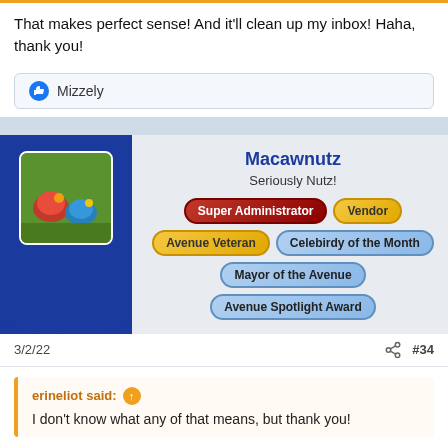That makes perfect sense! And it'll clean up my inbox! Haha, thank you!
Mizzely
[Figure (screenshot): User profile card for Macawnutz with avatar, title 'Seriously Nutz!', and badges: Super Administrator, Vendor, Avenue Veteran, Celebirdy of the Month, Mayor of the Avenue, Avenue Spotlight Award]
3/2/22   #34
erineliot said: ↑  I don't know what any of that means, but thank you!
However, I did receive two email notifications this morning